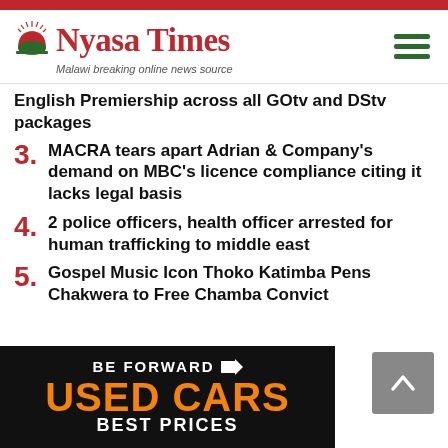Nyasa Times — Malawi breaking online news source
English Premiership across all GOtv and DStv packages
3. MACRA tears apart Adrian & Company's demand on MBC's licence compliance citing it lacks legal basis
4. 2 police officers, health officer arrested for human trafficking to middle east
5. Gospel Music Icon Thoko Katimba Pens Chakwera to Free Chamba Convict
[Figure (illustration): BE FORWARD used cars advertisement banner with orange 'USED CARS' text and 'BEST PRICES' below on black background]